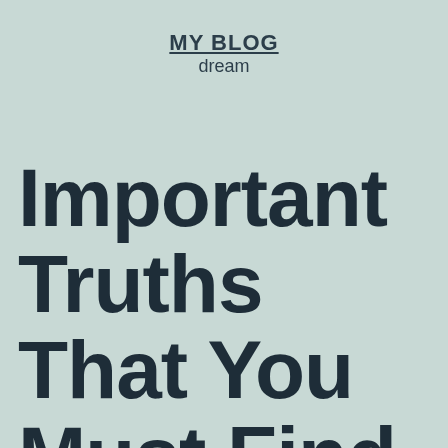MY BLOG
dream
Important Truths That You Must Find out about Blog